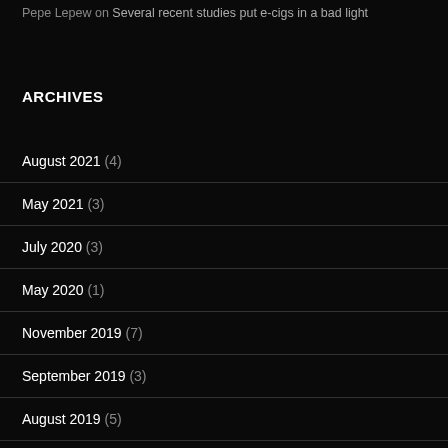Pepe Lepew on Several recent studies put e-cigs in a bad light
ARCHIVES
August 2021 (4)
May 2021 (3)
July 2020 (3)
May 2020 (1)
November 2019 (7)
September 2019 (3)
August 2019 (5)
April 2019 (4)
March 2019 (3)